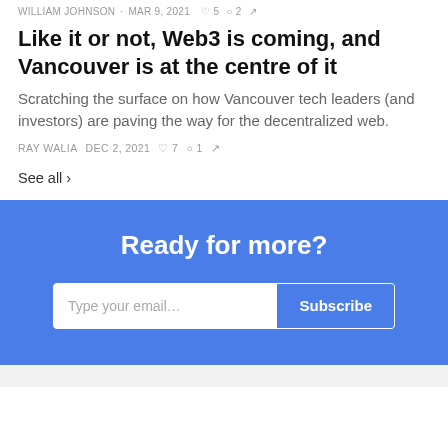WILLIAM JOHNSON · MAR 9, 2021 ♡ 5 ○ 2 ↗
Like it or not, Web3 is coming, and Vancouver is at the centre of it
Scratching the surface on how Vancouver tech leaders (and investors) are paving the way for the decentralized web.
RAY WALIA · DEC 2, 2021 · ♡ 7 · ○ 1 · ↗
See all ›
Ready for more?
Type your email... Subscribe